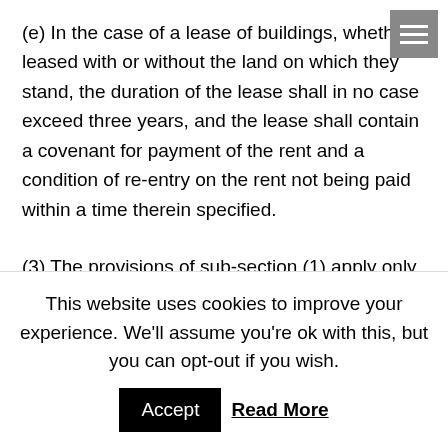(e) In the case of a lease of buildings, whether leased with or without the land on which they stand, the duration of the lease shall in no case exceed three years, and the lease shall contain a covenant for payment of the rent and a condition of re-entry on the rent not being paid within a time therein specified.
(3) The provisions of sub-section (1) apply only if and as far as a contrary intention is not expressed in the mortgage-deed; and the provisions of sub-section (2) may be varied or extended by the mortgage-deed and, as so varied and
This website uses cookies to improve your experience. We'll assume you're ok with this, but you can opt-out if you wish.
Accept  Read More